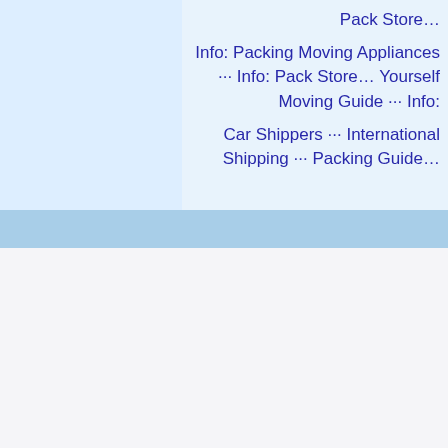Pack Store...
Info: Packing Moving Appliances ··· Info: Pack Store... Yourself Moving Guide ··· Info:
Car Shippers ··· International Shipping ··· Packing Guide...